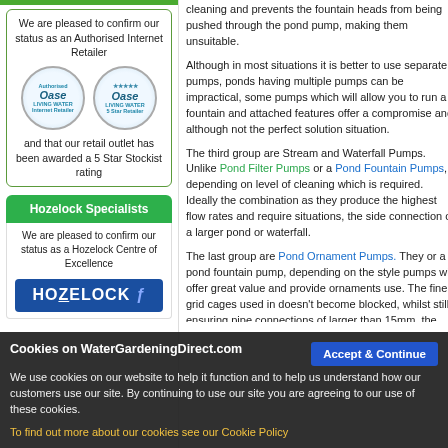[Figure (logo): Oase Authorised Internet Retailer and 5 Star Retailer circular badge logos]
We are pleased to confirm our status as an Authorised Internet Retailer and that our retail outlet has been awarded a 5 Star Stockist rating
Hozelock Specialists
We are pleased to confirm our status as a Hozelock Centre of Excellence
[Figure (logo): Hozelock logo in blue with italic swirl]
cleaning and prevents the fountain heads from being pushed through the pond pump, making them unsuitable.
Although in most situations it is better to use separate pumps, ponds having multiple pumps can be impractical, some pumps which will allow you to run a fountain and attached features offer a compromise and although not the perfect solution situation.
The third group are Stream and Waterfall Pumps. Unlike Pond Filter Pumps or a Pond Fountain Pumps, depending on level of cleaning which is required. Ideally the combination as they produce the highest flow rates and require situations, the side connection of a larger pond or waterfall.
The last group are Pond Ornament Pumps. They or a pond fountain pump, depending on the style pumps will offer great value and provide ornaments use. The fine grid cages used in doesn't become blocked, whilst still ensuring pipe connections of larger than 15mm, the pond filter pumps can be a great advantage.
Cookies on WaterGardeningDirect.com
We use cookies on our website to help it function and to help us understand how our customers use our site. By continuing to use our site you are agreeing to our use of these cookies.
To find out more about our cookies see our Cookie Policy